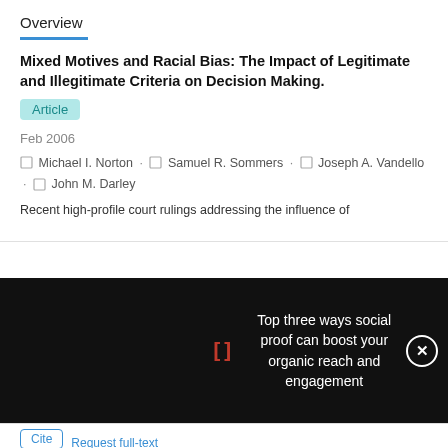Overview
Mixed Motives and Racial Bias: The Impact of Legitimate and Illegitimate Criteria on Decision Making.
Article
Feb 2006
Michael I. Norton · Samuel R. Sommers · Joseph A. Vandello · John M. Darley
Recent high-profile court rulings addressing the influence of
[Figure (screenshot): Black overlay popup with red bracket symbol and white text: 'Top three ways social proof can boost your organic reach and engagement' with a circular close button]
Lay Theories About White Racists: What Constitutes Racism (and What Doesn't)
Article